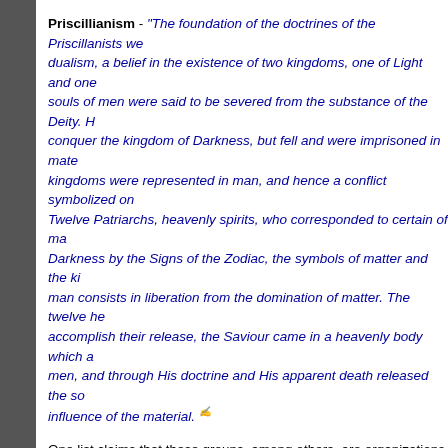Priscillianism - "The foundation of the doctrines of the Priscillanists was dualism, a belief in the existence of two kingdoms, one of Light and one... souls of men were said to be severed from the substance of the Deity. H... conquer the kingdom of Darkness, but fell and were imprisoned in mate... kingdoms were represented in man, and hence a conflict symbolized on... Twelve Patriarchs, heavenly spirits, who corresponded to certain of ma... Darkness by the Signs of the Zodiac, the symbols of matter and the ki... man consists in liberation from the domination of matter. The twelve he... accomplish their release, the Saviour came in a heavenly body which ap... men, and through His doctrine and His apparent death released the so... influence of the material."
One list claims that these groups, among others, are organizations which... tongues and prove their teachings "have been alive and well since the da... see, these groups were not even legitimate Christians let alone empowere... prove if a person who denies that Jesus was literally God yet has the abi... utterance? How does a gnostic speaking in tongues mean anything wher... that Jesus came in the flesh? (see 1 John 4:2-3) The fact is that there ha... groups who have claimed to be given gifts but whatever they experience... true God of the Bible. Only those who believed in the true Christ were giv... empowered with such gifts and we were told in God's Word that those gi... when perfection came. History proves that churches who teach the Bible... experiencing those gifts at about the time the final Words of Scripture we...
In conclusion we see that the founders of Pentecostalism not only be...